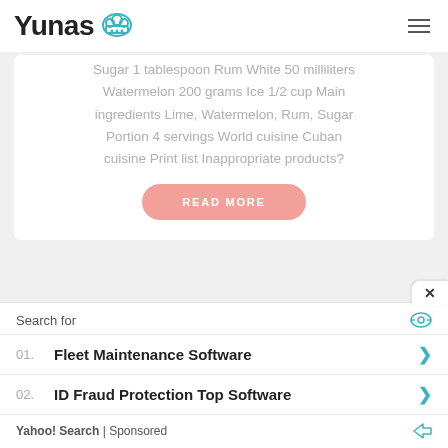Yunas [logo]
Sugar 1 tablespoon Rum White 50 milliliters Watermelon 200 grams Ice 1/2 cup Main ingredients Lime, Watermelon, Rum, Sugar Portion 4 servings World cuisine Cuban cuisine Print list Inappropriate products?
READ MORE
Search for
01. Fleet Maintenance Software
02. ID Fraud Protection Top Software
Yahoo! Search | Sponsored